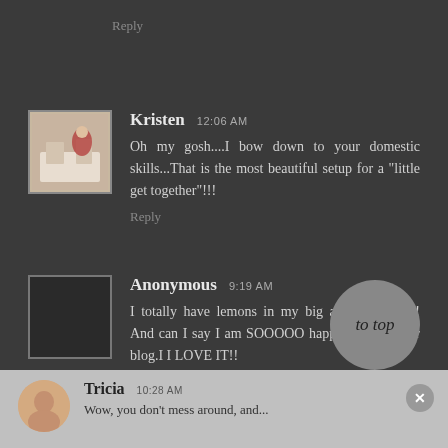Reply
Kristen  12:06 AM
Oh my gosh....I bow down to your domestic skills...That is the most beautiful setup for a "little get together"!!!
Reply
Anonymous  9:19 AM
I totally have lemons in my big apothecary too! And can I say I am SOOOOO happy I found your blog.I I LOVE IT!!
Reply
Tricia  10:28 AM
Wow, you don't mess around, and...